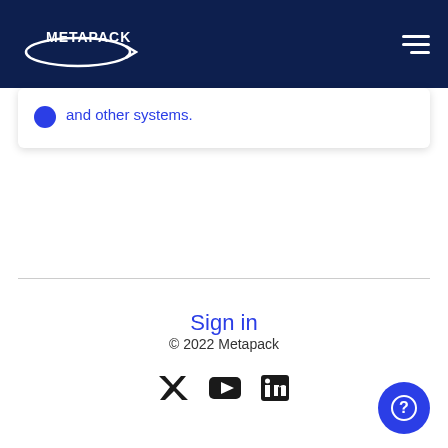METAPACK
and other systems.
Sign in
© 2022 Metapack
[Figure (other): Social media icons: Twitter, YouTube, LinkedIn]
[Figure (other): Blue circular help/question button]